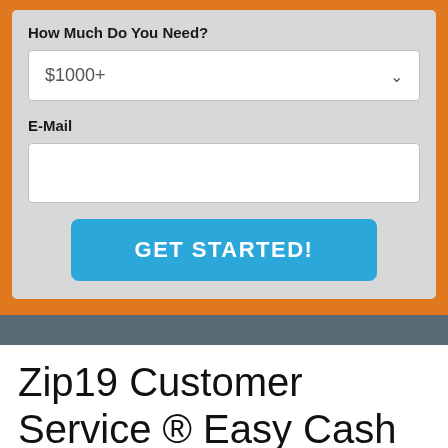How Much Do You Need?
$1000+
E-Mail
[Figure (screenshot): GET STARTED! button in blue]
Zip19 Customer Service ® Easy Cash Loans
Apply for Zip19 Customer Service Searching for $1000 Quickly Bank loan. Absolutely no Lines & No